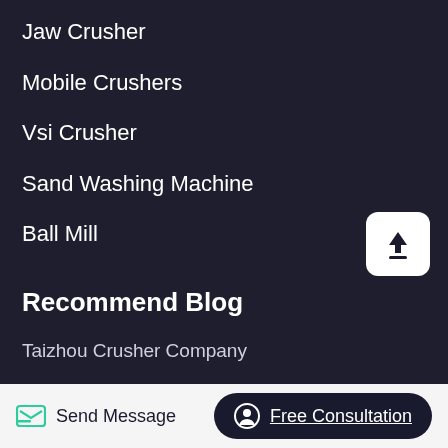Jaw Crusher
Mobile Crushers
Vsi Crusher
Sand Washing Machine
Ball Mill
Recommend Blog
Taizhou Crusher Company
What Is The Angle Of Repose Of Dry Magnetite
[Figure (other): Upload/share button icon — white square with rounded corners containing an upward arrow over a line]
Send Message
Free Consultation